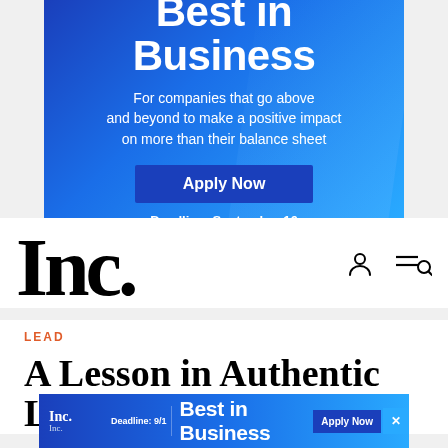[Figure (infographic): Inc. Best in Business advertisement banner with blue gradient background. Text: 'Best in Business', 'For companies that go above and beyond to make a positive impact on more than their balance sheet', 'Apply Now' button, 'Deadline: September 16']
[Figure (logo): Inc. magazine logo in large bold black serif font with navigation icons (person and search)]
LEAD
A Lesson in Authentic Lea...
[Figure (infographic): Bottom sticky banner ad: Inc. Best in Business. Deadline: 9/1. Apply Now button. Close X button.]